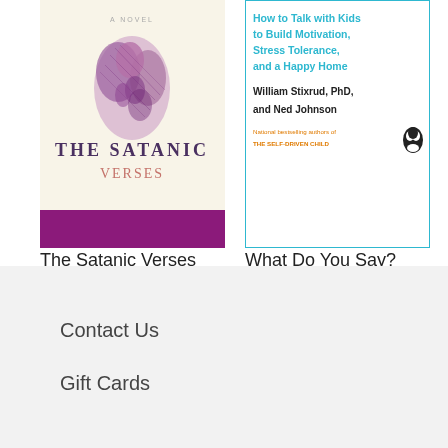[Figure (illustration): Book cover for 'The Satanic Verses' - cream background with purple illustrated figure, purple title text, and magenta bar at bottom]
The Satanic Verses
$23.00
[Figure (illustration): Book cover for 'What Do You Say?' with teal subtitle text 'How to Talk with Kids to Build Motivation, Stress Tolerance, and a Happy Home', author names William Stixrud PhD and Ned Johnson in bold, orange tagline, Penguin logo]
What Do You Say?
$23.00
Contact Us
Gift Cards